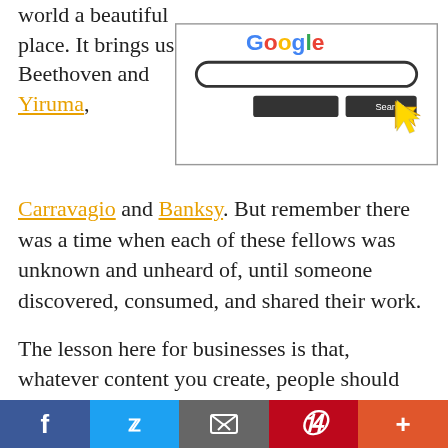world a beautiful place. It brings us Beethoven and Yiruma, Carravagio and Banksy. But remember there was a time when each of these fellows was unknown and unheard of, until someone discovered, consumed, and shared their work.
[Figure (screenshot): Google search bar interface screenshot with search box and a yellow cursor arrow pointing at a Search button]
The lesson here for businesses is that, whatever content you create, people should know it exists. Even the most epic content is worthless unless someone finds it, enjoys it, and passes it along to his friends and peers. That's what great
[Figure (infographic): Social sharing bar with icons: Facebook (blue), Twitter (light blue), Email (grey), Pinterest (red), Plus/More (orange-red)]